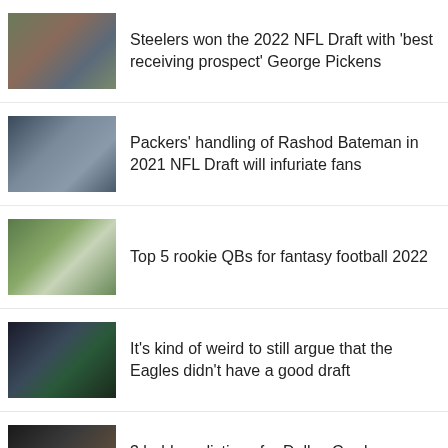Steelers won the 2022 NFL Draft with 'best receiving prospect' George Pickens
Packers' handling of Rashod Bateman in 2021 NFL Draft will infuriate fans
Top 5 rookie QBs for fantasy football 2022
It's kind of weird to still argue that the Eagles didn't have a good draft
3 bold predictions for Dallas Cowboys offseason after NFL Draft